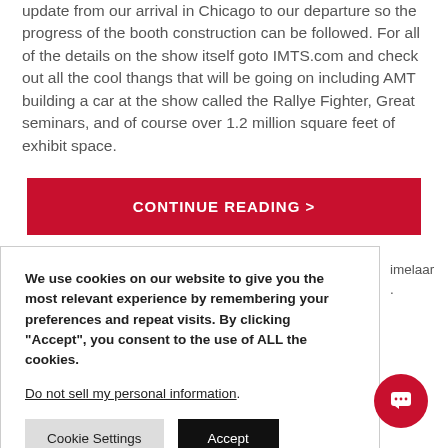update from our arrival in Chicago to our departure so the progress of the booth construction can be followed. For all of the details on the show itself goto IMTS.com and check out all the cool thangs that will be going on including AMT building a car at the show called the Rallye Fighter, Great seminars, and of course over 1.2 million square feet of exhibit space.
CONTINUE READING >
We use cookies on our website to give you the most relevant experience by remembering your preferences and repeat visits. By clicking “Accept”, you consent to the use of ALL the cookies.
Do not sell my personal information.
Cookie Settings   Accept
imelaar
s 115 da
or August
around you start to make reservations or plan your visit